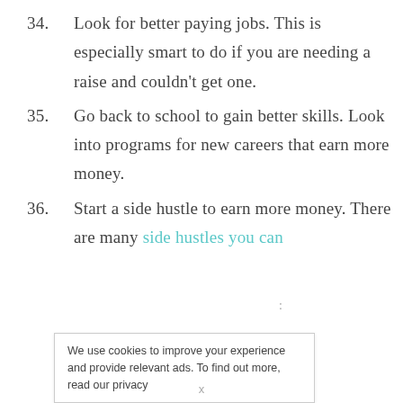34. Look for better paying jobs. This is especially smart to do if you are needing a raise and couldn't get one.
35. Go back to school to gain better skills. Look into programs for new careers that earn more money.
36. Start a side hustle to earn more money. There are many side hustles you can
We use cookies to improve your experience and provide relevant ads. To find out more, read our privacy
x